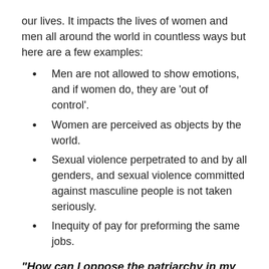our lives. It impacts the lives of women and men all around the world in countless ways but here are a few examples:
Men are not allowed to show emotions, and if women do, they are 'out of control'.
Women are perceived as objects by the world.
Sexual violence perpetrated to and by all genders, and sexual violence committed against masculine people is not taken seriously.
Inequity of pay for preforming the same jobs.
“How can I oppose the patriarchy in my life?”
Tackling the patriarchy is not an easy job to do but here are some small ways that we can work against it: